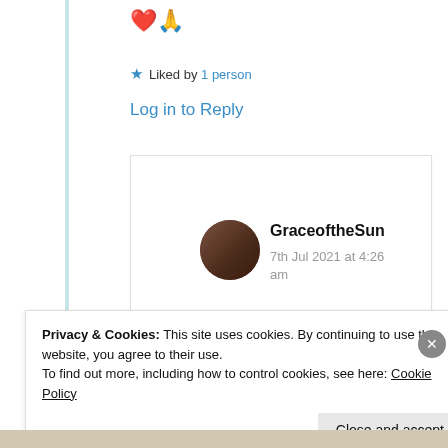❤️🙏
★ Liked by 1 person
Log in to Reply
[Figure (photo): Circular avatar photo of GraceoftheSun commenter]
GraceoftheSun
7th Jul 2021 at 4:26 am
Privacy & Cookies: This site uses cookies. By continuing to use this website, you agree to their use.
To find out more, including how to control cookies, see here: Cookie Policy
Close and accept